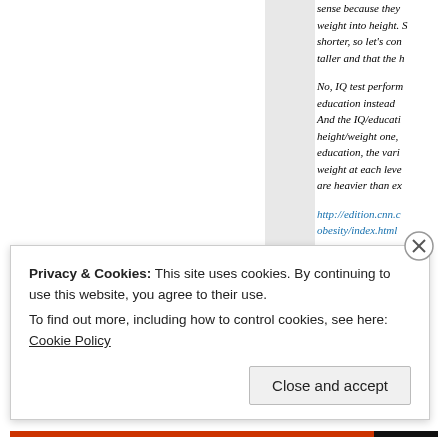sense because they weight into height. S shorter, so let's con taller and that the h
No, IQ test perform education instead A And the IQ/educati height/weight one, education, the vari weight at each leve are heavier than ex http://edition.cnn.c obesity/index.html
Privacy & Cookies: This site uses cookies. By continuing to use this website, you agree to their use.
To find out more, including how to control cookies, see here: Cookie Policy